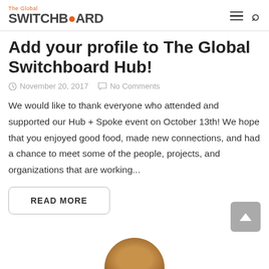The Global SWITCHBOARD
Add your profile to The Global Switchboard Hub!
November 20, 2017   No Comments
We would like to thank everyone who attended and supported our Hub + Spoke event on October 13th! We hope that you enjoyed good food, made new connections, and had a chance to meet some of the people, projects, and organizations that are working...
READ MORE
[Figure (photo): Partial circular brown/wooden object visible at bottom of page]